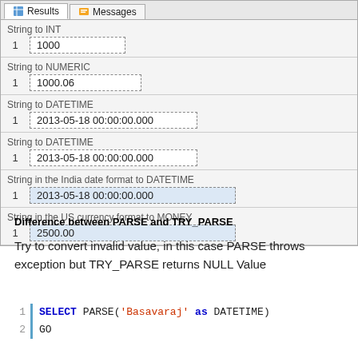[Figure (screenshot): SQL Server Management Studio Results panel showing 6 result sets: String to INT (1000), String to NUMERIC (1000.06), String to DATETIME (2013-05-18 00:00:00.000), String to DATETIME (2013-05-18 00:00:00.000), String in the India date format to DATETIME (2013-05-18 00:00:00.000), String in the US currency format to MONEY (2500.00)]
Difference between PARSE and TRY_PARSE
Try to convert invalid value, in this case PARSE throws exception but TRY_PARSE returns NULL Value
SELECT PARSE('Basavaraj' as DATETIME)
GO